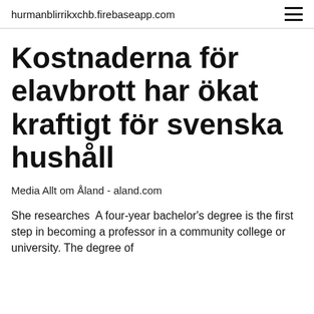hurmanblirrikxchb.firebaseapp.com
Kostnaderna för elavbrott har ökat kraftigt för svenska hushåll
Media Allt om Åland - aland.com
She researches  A four-year bachelor's degree is the first step in becoming a professor in a community college or university. The degree of